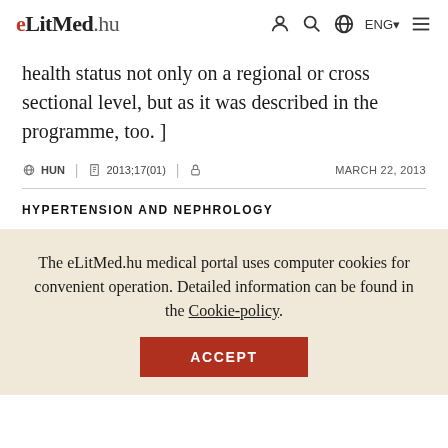eLitMed.hu — navigation header with icons: person, search, globe, ENG, menu
health status not only on a regional or cross sectional level, but as it was described in the programme, too. ]
HUN | 2013;17(01) | [lock icon] | MARCH 22, 2013
HYPERTENSION AND NEPHROLOGY
The eLitMed.hu medical portal uses computer cookies for convenient operation. Detailed information can be found in the Cookie-policy. ACCEPT